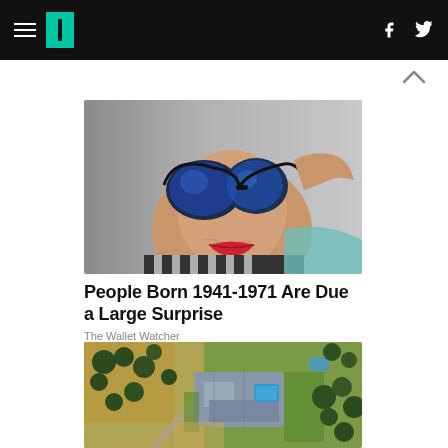HuffPost navigation with hamburger menu, logo, Facebook and Twitter icons
[Figure (photo): Elderly woman with bold red lipstick wearing large blue mirrored sunglasses, pulling them down slightly, wearing a striped top]
People Born 1941-1971 Are Due a Large Surprise
The Wallet Watcher
[Figure (photo): Aerial view of a large luxury estate with multiple rooftops, green lawns, a swimming pool, and surrounding trees and dry terrain]